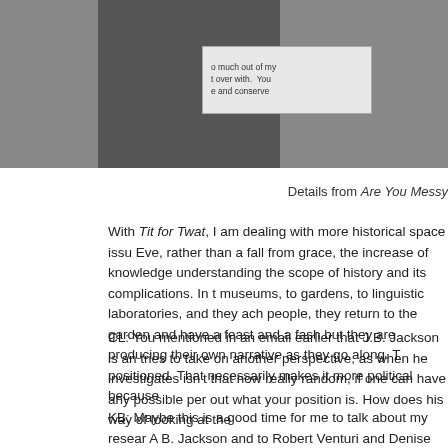[Figure (photo): Photograph of a label card with text partially visible: 'o much out of my t over with. You e and conserve', set against a dark gray background]
Details from Are You Messy
With Tit for Twat, I am dealing with more historical space issu Eve, rather than a fall from grace, the increase of knowledge understanding the scope of history and its complications. In t museums, to gardens, to linguistic laboratories, and they ach people, they return to the garden and have a feast and a fash but they are producing their own narrative as they go along. T positioned. That necessarily makes it more political because
CL: You mentioned in an email earlier that J.B. Jackson is an tries to take on another perspective, as when he investigates isn't that now really random, if one can have any possible per out what your position is. How does his way of looking at the
KB: Maybe this is a good time for me to talk about my resear A B. Jackson and to Robert Venturi and Denise Scott Brow